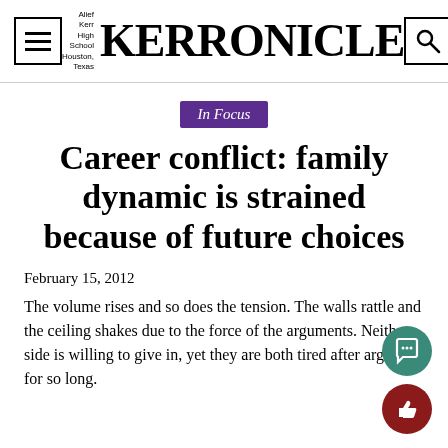Alief Kerr High School Houston, Texas — KERRONICLE
In Focus
Career conflict: family dynamic is strained because of future choices
February 15, 2012
The volume rises and so does the tension. The walls rattle and the ceiling shakes due to the force of the arguments. Neither side is willing to give in, yet they are both tired after arguing for so long.